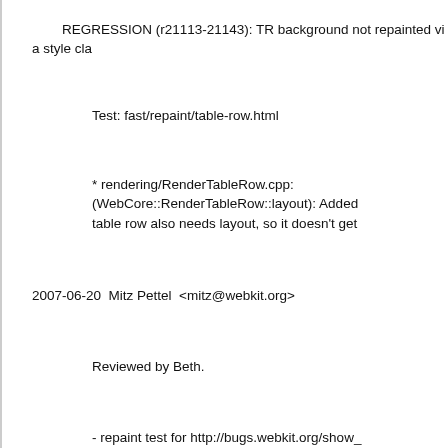REGRESSION (r21113-21143): TR background not repainted via style cla
Test: fast/repaint/table-row.html
* rendering/RenderTableRow.cpp: (WebCore::RenderTableRow::layout): Added table row also needs layout, so it doesn't get
2007-06-20  Mitz Pettel  <mitz@webkit.org>
Reviewed by Beth.
- repaint test for http://bugs.webkit.org/show_id=14056
        REGRESSION (r21113-21143): TR background not repainted via style cla
* fast/repaint/table-row-expected.checksum: Added.
* fast/repaint/table-row-expected.png: Added.
* fast/repaint/table-row-expected.txt: Added.
* fast/repaint/table-row.html: Added.
git-svn-id: https://svn.webkit.org/repository/webkit/trunk@cd09-0410-ab3c-d52691b4dbfc